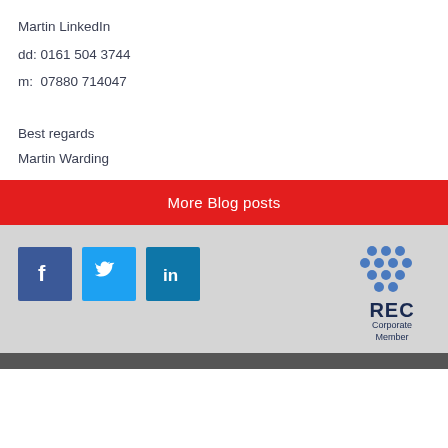Martin LinkedIn
dd: 0161 504 3744
m:  07880 714047
Best regards
Martin Warding
More Blog posts
[Figure (logo): Facebook, Twitter, LinkedIn social media icons and REC Corporate Member logo in footer]
[Figure (logo): REC Corporate Member logo with blue dots pattern and text]